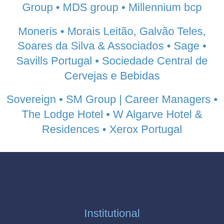Group • MDS group • Millennium bcp
Moneris • Morais Leitão, Galvão Teles, Soares da Silva & Associados • Sage • Savills Portugal • Sociedade Central de Cervejas e Bebidas
Sovereign • SM Group | Career Managers • The Lodge Hotel • W Algarve Hotel & Residences • Xerox Portugal
Institutional
About Us
Mission & Aims